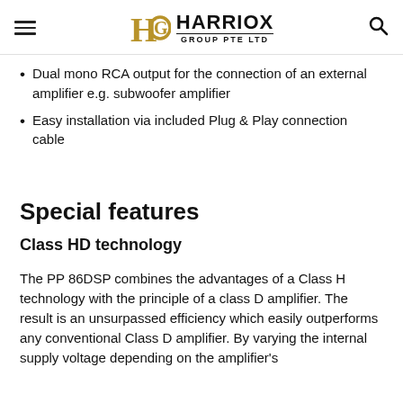HARRIOX GROUP PTE LTD
Dual mono RCA output for the connection of an external amplifier e.g. subwoofer amplifier
Easy installation via included Plug & Play connection cable
Special features
Class HD technology
The PP 86DSP combines the advantages of a Class H technology with the principle of a class D amplifier. The result is an unsurpassed efficiency which easily outperforms any conventional Class D amplifier. By varying the internal supply voltage depending on the amplifier's